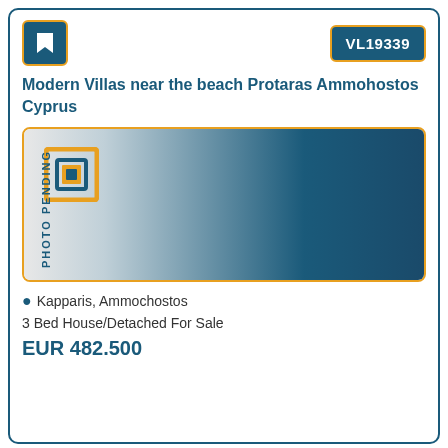VL19339
Modern Villas near the beach Protaras Ammohostos Cyprus
[Figure (photo): Photo pending placeholder image with gradient background from light grey to dark blue, showing a logo and rotated text 'PHOTO PENDING']
Kapparis, Ammochostos
3 Bed House/Detached For Sale
EUR 482.500